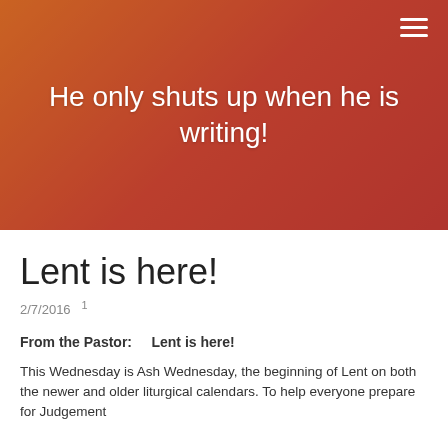[Figure (photo): Hero banner with a person speaking at a microphone, overlaid with a warm orange-to-red gradient background]
He only shuts up when he is writing!
Lent is here!
2/7/2016  ¹
From the Pastor:    Lent is here!
This Wednesday is Ash Wednesday, the beginning of Lent on both the newer and older liturgical calendars. To help everyone prepare for Judgement